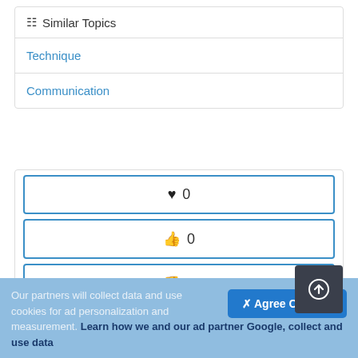Similar Topics
Technique
Communication
[Figure (other): Three voting buttons with heart (0), thumbs up (0), and thumbs down (0) icons, each outlined in blue. A dark upload button with a circled up-arrow icon is overlaid on the bottom-right of the last button.]
Like this paper and download? You can publish your own PDF file online for free in a few minutes!
Our partners will collect data and use cookies for ad personalization and measurement. Learn how we and our ad partner Google, collect and use data